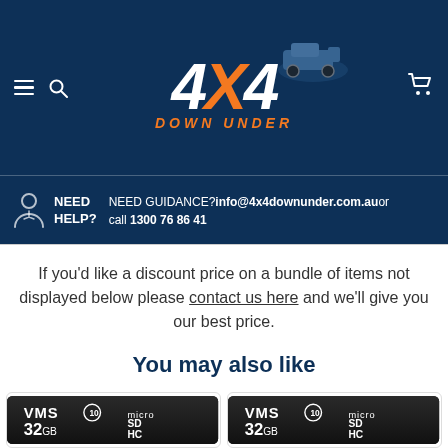[Figure (logo): 4x4 Down Under logo with orange and white text on dark navy background, with truck illustration]
NEED HELP? NEED GUIDANCE? info@4x4downunder.com.au or call 1300 76 86 41
If you'd like a discount price on a bundle of items not displayed below please contact us here and we'll give you our best price.
You may also like
[Figure (photo): VMS 32GB microSDHC Class 10 card]
[Figure (photo): VMS 32GB microSDHC Class 10 card]